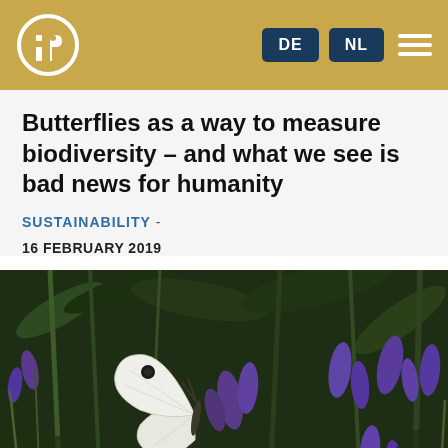IO [logo] | DE | NL | [menu]
Butterflies as a way to measure biodiversity – and what we see is bad news for humanity
SUSTAINABILITY -
16 FEBRUARY 2019
[Figure (photo): A white butterfly with a small black spot on its wing, resting on purple lavender flowers, with green foliage in the background. Dark, close-up nature photograph.]